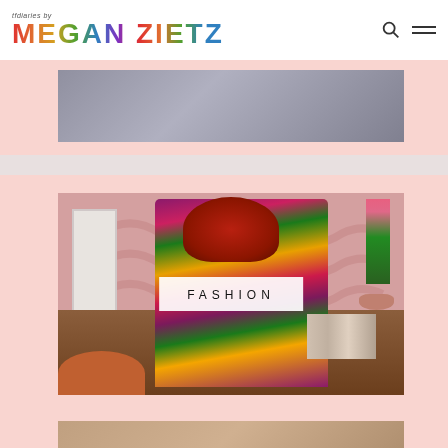tfdiaries by MEGAN ZIETZ
[Figure (photo): Partial image at top of page, cropped website card]
[Figure (photo): Fashion photo of woman with red hair wearing colorful floral tropical print dress standing in a pink room with mid-century modern dresser, flowers, and orange chair. White box overlay reads 'FASHION' in spaced uppercase letters.]
[Figure (photo): Partial image at bottom of page, cropped website card]